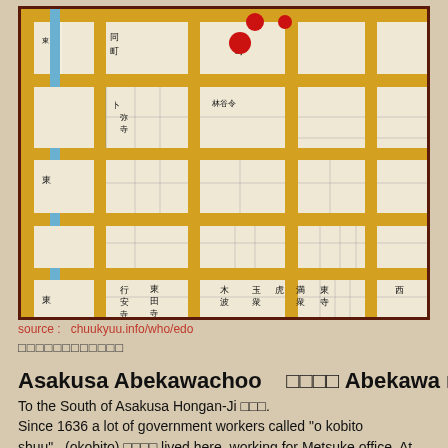[Figure (map): Historical Japanese map of Asakusa Abekawachoo area showing streets, blocks, and buildings labeled in kanji. Red dots mark specific locations. Streets are shown in gold/yellow, a blue canal runs vertically on the left side.]
source :   chuukyuu.info/who/edo
□□□□□□□□□□□□
Asakusa Abekawachoo　□□□□ Abekawa machi
To the South of Asakusa Hongan-Ji □□□.
Since 1636 a lot of government workers called "o kobito shuu"　(okobito) □□□□ lived here, working for Metsuke office. At that time, the district did not have a special name yet.